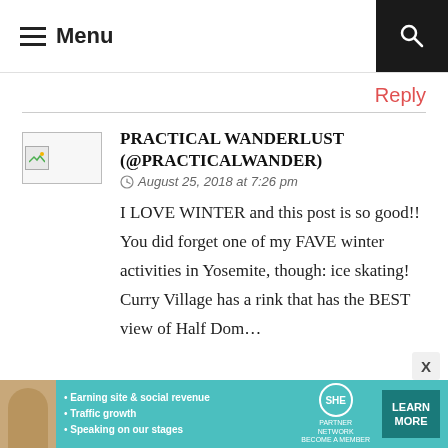Menu
Reply
[Figure (photo): Broken/unloaded avatar image placeholder for commenter]
PRACTICAL WANDERLUST (@PRACTICALWANDER)
August 25, 2018 at 7:26 pm
I LOVE WINTER and this post is so good!! You did forget one of my FAVE winter activities in Yosemite, though: ice skating! Curry Village has a rink that has the BEST view of Half Dom…
[Figure (infographic): SHE Partner Network advertisement banner. Bullet points: Earning site & social revenue, Traffic growth, Speaking on our stages. Logo: SHE PARTNER NETWORK BECOME A MEMBER. CTA button: LEARN MORE]